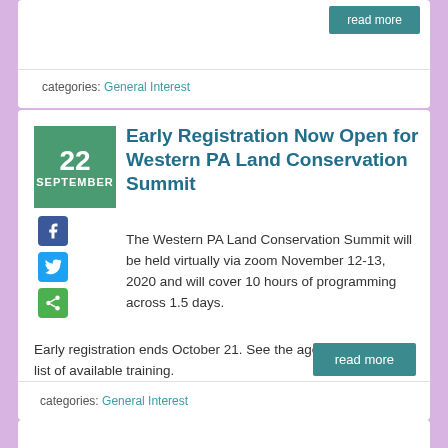read more
categories: General Interest
Early Registration Now Open for Western PA Land Conservation Summit
The Western PA Land Conservation Summit will be held virtually via zoom November 12-13, 2020 and will cover 10 hours of programming across 1.5 days. Early registration ends October 21. See the agenda for the full list of available training.
read more
categories: General Interest